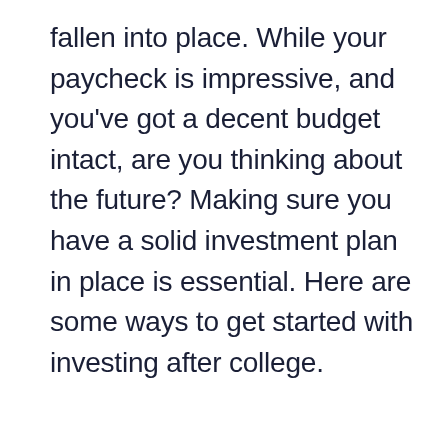fallen into place. While your paycheck is impressive, and you've got a decent budget intact, are you thinking about the future? Making sure you have a solid investment plan in place is essential. Here are some ways to get started with investing after college.